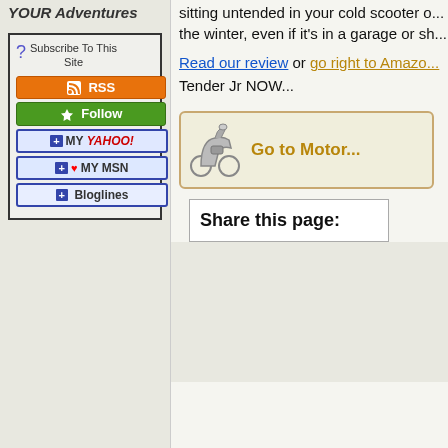YOUR Adventures
[Figure (infographic): Subscribe To This Site box with RSS, Follow, My Yahoo, My MSN, Bloglines buttons]
sitting untended in your cold scooter over the winter, even if it's in a garage or sh...
Read our review or go right to Amazon... Tender Jr NOW...
[Figure (infographic): Go to Motor... link box with scooter illustration]
Share this page: